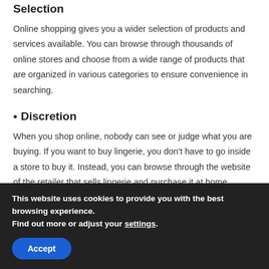Selection
Online shopping gives you a wider selection of products and services available. You can browse through thousands of online stores and choose from a wide range of products that are organized in various categories to ensure convenience in searching.
• Discretion
When you shop online, nobody can see or judge what you are buying. If you want to buy lingerie, you don't have to go inside a store to buy it. Instead, you can browse through the website of the retailer that sells lingerie and purchase it at home without being
This website uses cookies to provide you with the best browsing experience.
Find out more or adjust your settings.
Accept